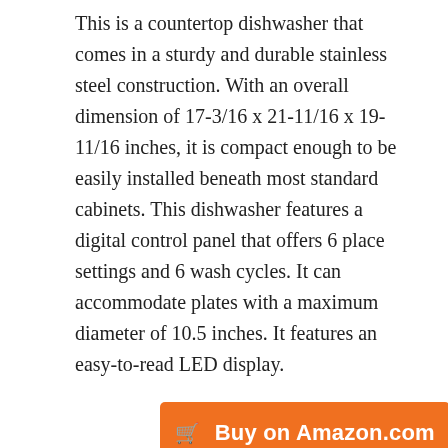This is a countertop dishwasher that comes in a sturdy and durable stainless steel construction. With an overall dimension of 17-3/16 x 21-11/16 x 19-11/16 inches, it is compact enough to be easily installed beneath most standard cabinets. This dishwasher features a digital control panel that offers 6 place settings and 6 wash cycles. It can accommodate plates with a maximum diameter of 10.5 inches. It features an easy-to-read LED display.
[Figure (other): Orange 'Buy on Amazon.com' button with shopping cart icon]
6. Amana ADB1100AWB Dishwasher